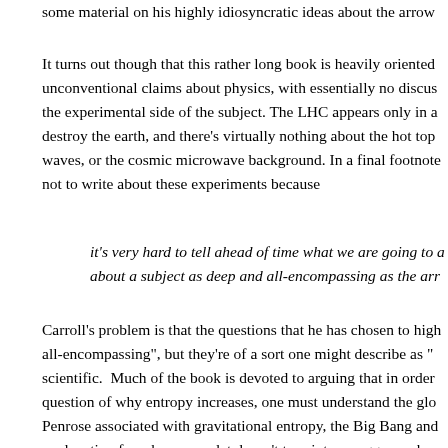some material on his highly idiosyncratic ideas about the arrow of time.
It turns out though that this rather long book is heavily oriented toward unconventional claims about physics, with essentially no discussion of the experimental side of the subject. The LHC appears only in a context of destroy the earth, and there’s virtually nothing about the hot topic of gravitational waves, or the cosmic microwave background. In a final footnote he explains that he chose not to write about these experiments because
it’s very hard to tell ahead of time what we are going to learn about a subject as deep and all-encompassing as the arrow of time
Carroll’s problem is that the questions that he has chosen to highlight are indeed “all-encompassing”, but they’re of a sort one might describe as “meta-physical” rather than scientific. Much of the book is devoted to arguing that in order to understand the fundamental question of why entropy increases, one must understand the global history of the universe, issues Penrose associated with gravitational entropy, the Big Bang and its nature, etc. This explanation for why an omelet doesn’t turn into an egg somehow requires a pre-Big Bang. Even after reading the book, I remain unconvinced that